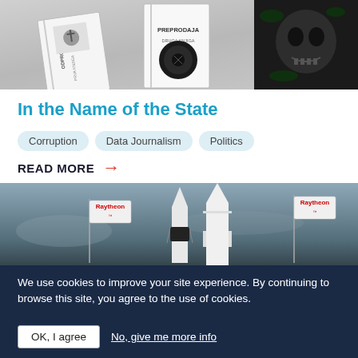[Figure (photo): Three book covers with dark designs — ODPRODAJA, PREPRODAJA, and a dark skull image on the right]
In the Name of the State
Corruption
Data Journalism
Politics
READ MORE →
[Figure (photo): Missiles/rockets with Raytheon flags in a stormy sky]
We use cookies to improve your site experience. By continuing to browse this site, you agree to the use of cookies.
OK, I agree
No, give me more info